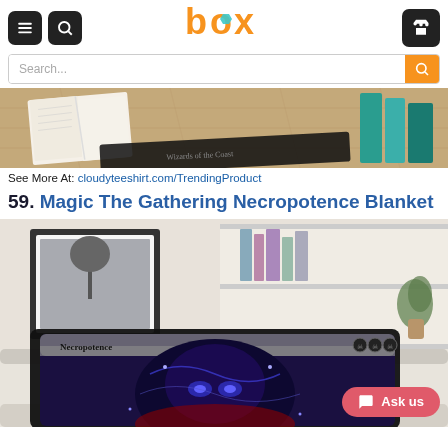Box logo with hamburger menu, search, and cart icons
Search...
[Figure (photo): Product banner image showing open books and Wizards of the Coast branded items on a wooden floor]
See More At: cloudyteeshirt.com/TrendingProduct
59. Magic The Gathering Necropotence Blanket
[Figure (photo): Necropotence Magic The Gathering blanket draped on a couch, showing the card art with dark blue/purple mystical creature, with Ask us button overlay]